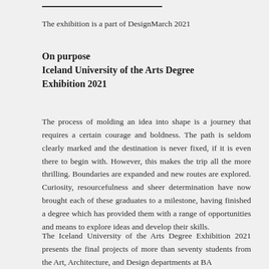The exhibition is a part of DesignMarch 2021
On purpose
Iceland University of the Arts Degree Exhibition 2021
The process of molding an idea into shape is a journey that requires a certain courage and boldness. The path is seldom clearly marked and the destination is never fixed, if it is even there to begin with. However, this makes the trip all the more thrilling. Boundaries are expanded and new routes are explored. Curiosity, resourcefulness and sheer determination have now brought each of these graduates to a milestone, having finished a degree which has provided them with a range of opportunities and means to explore ideas and develop their skills.
The Iceland University of the Arts Degree Exhibition 2021 presents the final projects of more than seventy students from the Art, Architecture, and Design departments at BA